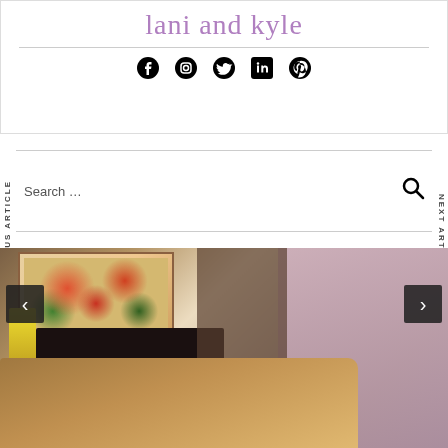lani and kyle
[Figure (illustration): Social media icons: Facebook, Instagram, Twitter, LinkedIn, Pinterest]
Search …
PREVIOUS ARTICLE
NEXT ARTICLE
[Figure (photo): Interior room photo showing a wooden table, floral artwork, bookshelf, and curtains. Navigation arrows (< and >) on left and right sides.]